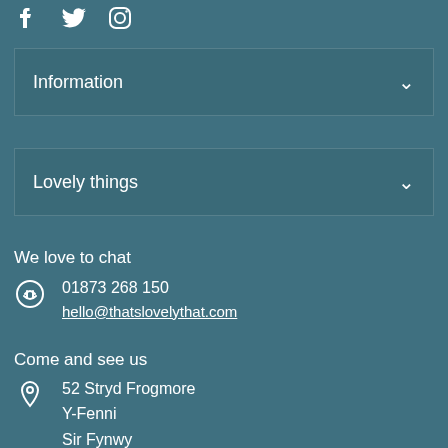[Figure (other): Social media icons: Facebook, Twitter, Instagram]
Information
Lovely things
We love to chat
01873 268 150
hello@thatslovelythat.com
Come and see us
52 Stryd Frogmore
Y-Fenni
Sir Fynwy